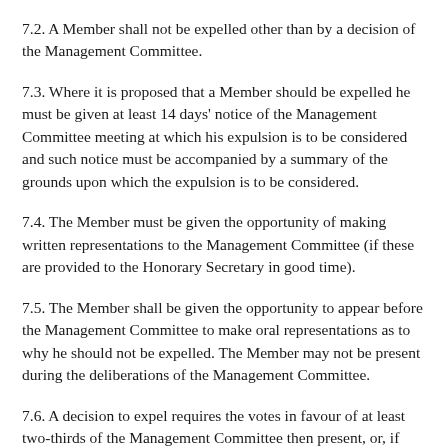7.2. A Member shall not be expelled other than by a decision of the Management Committee.
7.3. Where it is proposed that a Member should be expelled he must be given at least 14 days' notice of the Management Committee meeting at which his expulsion is to be considered and such notice must be accompanied by a summary of the grounds upon which the expulsion is to be considered.
7.4. The Member must be given the opportunity of making written representations to the Management Committee (if these are provided to the Honorary Secretary in good time).
7.5. The Member shall be given the opportunity to appear before the Management Committee to make oral representations as to why he should not be expelled. The Member may not be present during the deliberations of the Management Committee.
7.6. A decision to expel requires the votes in favour of at least two-thirds of the Management Committee then present, or, if greater, four